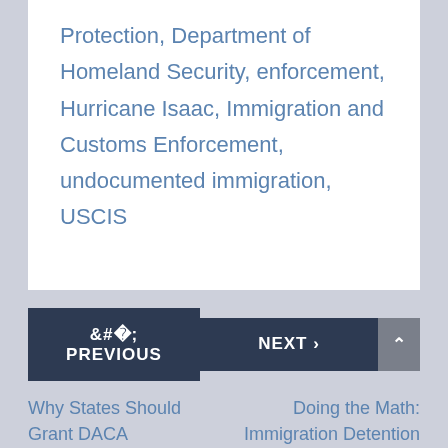Protection, Department of Homeland Security, enforcement, Hurricane Isaac, Immigration and Customs Enforcement, undocumented immigration, USCIS
< PREVIOUS
NEXT >
Why States Should Grant DACA Beneficiaries Driver's Licenses
Doing the Math: Immigration Detention Costs a Pretty Penny